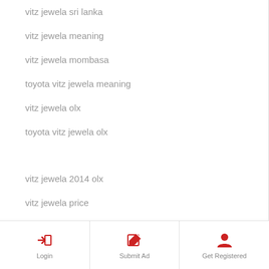vitz jewela sri lanka
vitz jewela meaning
vitz jewela mombasa
toyota vitz jewela meaning
vitz jewela olx
toyota vitz jewela olx
vitz jewela 2014 olx
vitz jewela price
vitz jewela pakwheels
vitz jewela pink
toyota vitz jewela price in kenya
vitz jewela review
toyota vitz jewela review
vitz jewela specifications
Login  Submit Ad  Get Registered